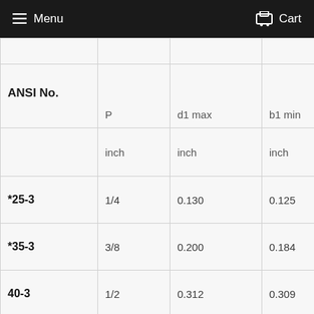Menu   Cart
| ANSI No. | P | d1 max | b1 min |  |
| --- | --- | --- | --- | --- |
|  | inch | inch | inch | i |
| *25-3 | 1/4 | 0.130 | 0.125 | 0 |
| *35-3 | 3/8 | 0.200 | 0.184 | 0 |
| 40-3 | 1/2 | 0.312 | 0.309 | 0 |
| 50-3 | 5/8 | 0.400 | 0.372 |  |